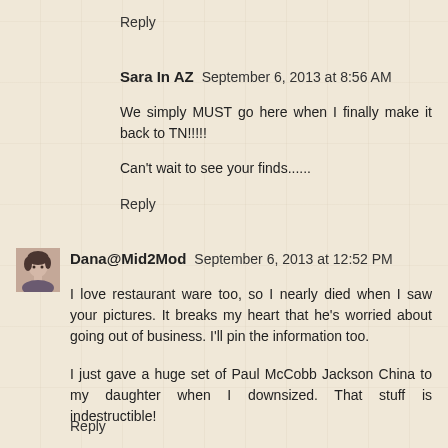Reply
Sara In AZ  September 6, 2013 at 8:56 AM
We simply MUST go here when I finally make it back to TN!!!!!
Can't wait to see your finds......
Reply
[Figure (photo): Small avatar photo of Dana@Mid2Mod, a woman with short dark hair]
Dana@Mid2Mod  September 6, 2013 at 12:52 PM
I love restaurant ware too, so I nearly died when I saw your pictures. It breaks my heart that he's worried about going out of business. I'll pin the information too.
I just gave a huge set of Paul McCobb Jackson China to my daughter when I downsized. That stuff is indestructible!
Reply